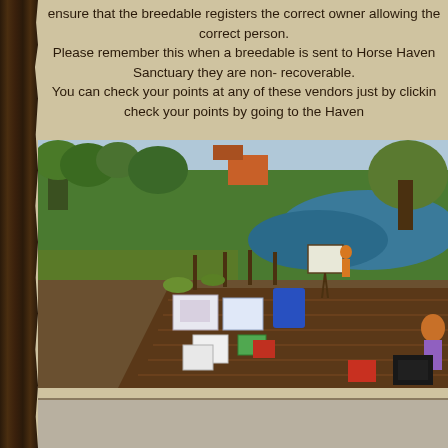ensure that the breedable registers the correct owner allowing the correct person. Please remember this when a breedable is sent to Horse Haven Sanctuary they are non- recoverable. You can check your points at any of these vendors just by clicking check your points by going to the Haven
[Figure (screenshot): A virtual world (Second Life style) screenshot showing a marketplace area with wooden dock/boardwalk, vendor displays with boxes and signs, lush green trees and grass in the background, a pond/river visible, and various colorful vendor items arranged on the dock. The scene appears to be an in-world horse breedable market or sanctuary area.]